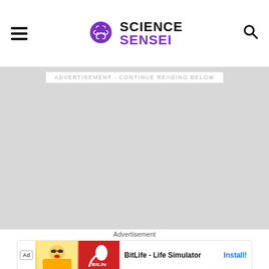[Figure (logo): Science Sensei logo with purple brain/atom icon and bold text SCIENCE SENSEI]
[Figure (other): Advertisement placeholder area - light gray rectangle with 'ADVERTISEMENT - CONTINUE READING BELOW' label]
Advertisement
[Figure (other): BitLife - Life Simulator app advertisement banner with Ad badge, cartoon character image, BitLife logo on red background, app name and Install button]